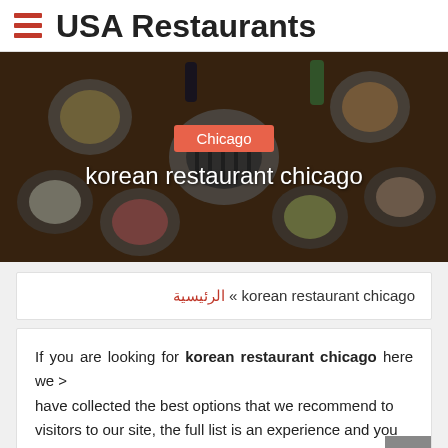USA Restaurants
[Figure (photo): Overhead view of Korean BBQ spread with multiple dishes, bowls of side dishes, a grill in the center, and beverages on a wooden table. Overlay text shows 'Chicago' badge and 'korean restaurant chicago' title.]
الرئيسية « korean restaurant chicago
If you are looking for korean restaurant chicago here we > have collected the best options that we recommend to visitors to our site, the full list is an experience and you have the opinions of visitors about it.